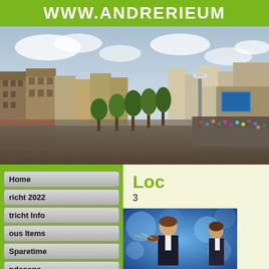WWW.ANDRERIEUM
[Figure (photo): Aerial panoramic view of a large outdoor concert in Vrijthof square, Maastricht, with crowds, trees lining the street, historic buildings on the left, and a large concert stage with screen on the right]
[Figure (screenshot): Website screenshot showing navigation menu on green background with items: Home, Maastricht 2022, Maastricht Info, Various Items, Sparetime, Broadsoaps; and right content area on cream background showing 'Loc' heading and '3' subtext, with bottom photo of André Rieu playing violin on stage with blue backdrop]
Loc
3
[Figure (photo): André Rieu playing violin on stage with blue blurred background and another musician visible to the right]